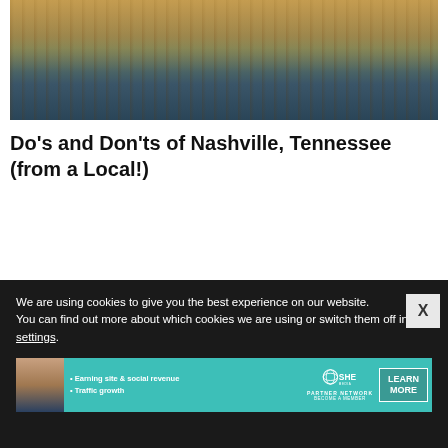[Figure (photo): Aerial/street view photo of Nashville, Tennessee cityscape with waterfront and sunlight]
Do's and Don'ts of Nashville, Tennessee (from a Local!)
[Figure (logo): SHE Media Partner Network logo on teal background]
We are using cookies to give you the best experience on our website.
You can find out more about which cookies we are using or switch them off in settings.
[Figure (infographic): SHE Media Partner Network advertisement banner with text: Earning site & social revenue, Traffic growth, and Learn More button]